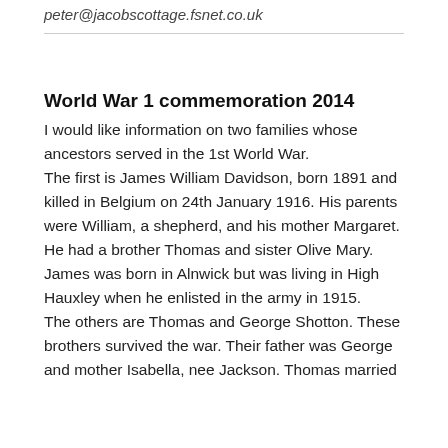peter@jacobscottage.fsnet.co.uk
World War 1 commemoration 2014
I would like information on two families whose ancestors served in the 1st World War. The first is James William Davidson, born 1891 and killed in Belgium on 24th January 1916. His parents were William, a shepherd, and his mother Margaret. He had a brother Thomas and sister Olive Mary. James was born in Alnwick but was living in High Hauxley when he enlisted in the army in 1915. The others are Thomas and George Shotton. These brothers survived the war. Their father was George and mother Isabella, nee Jackson. Thomas married